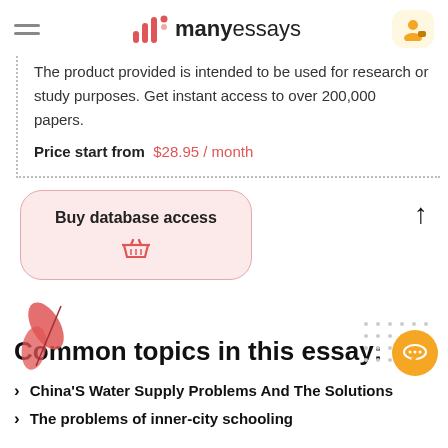manyessays
The product provided is intended to be used for research or study purposes. Get instant access to over 200,000 papers.
Price start from  $28.95 / month
Buy database access
Common topics in this essay:
China'S Water Supply Problems And The Solutions
The problems of inner-city schooling